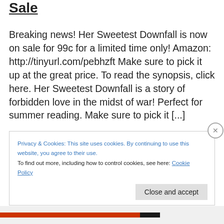Sale
Breaking news! Her Sweetest Downfall is now on sale for 99c for a limited time only! Amazon: http://tinyurl.com/pebhzft Make sure to pick it up at the great price. To read the synopsis, click here. Her Sweetest Downfall is a story of forbidden love in the midst of war! Perfect for summer reading. Make sure to pick it [...]
Privacy & Cookies: This site uses cookies. By continuing to use this website, you agree to their use.
To find out more, including how to control cookies, see here: Cookie Policy
Close and accept